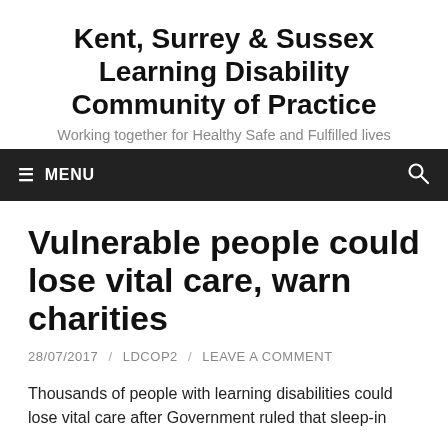Kent, Surrey & Sussex Learning Disability Community of Practice
Working together for Healthy Safe and Fulfilled lives
≡ MENU
Vulnerable people could lose vital care, warn charities
28/07/2017 / LDCOP2 / LEAVE A COMMENT
Thousands of people with learning disabilities could lose vital care after Government ruled that sleep-in